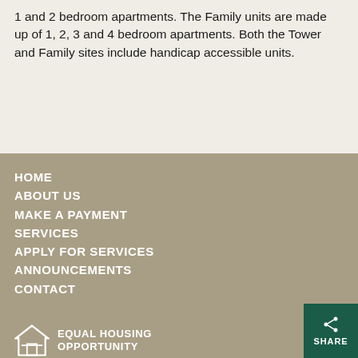1 and 2 bedroom apartments. The Family units are made up of 1, 2, 3 and 4 bedroom apartments. Both the Tower and Family sites include handicap accessible units.
HOME
ABOUT US
MAKE A PAYMENT
SERVICES
APPLY FOR SERVICES
ANNOUNCEMENTS
CONTACT
EQUAL HOUSING OPPORTUNITY